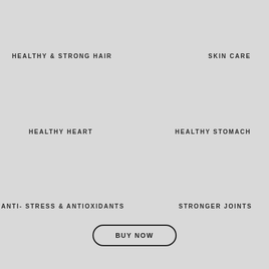HEALTHY & STRONG HAIR
SKIN CARE
HEALTHY HEART
HEALTHY STOMACH
ANTI- STRESS & ANTIOXIDANTS
STRONGER JOINTS
BUY NOW